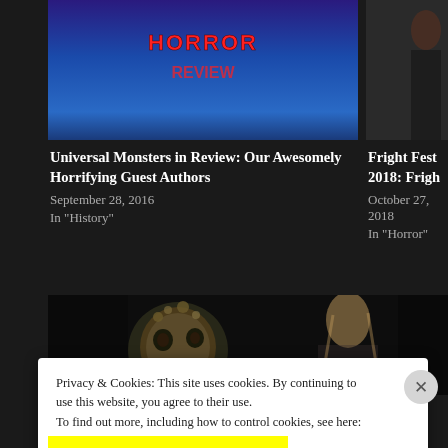[Figure (screenshot): Website screenshot showing two article cards at top with dark background. Left card has blue/purple banner image. Right card partially visible with dark image.]
Universal Monsters in Review: Our Awesomely Horrifying Guest Authors
September 28, 2016
In "History"
Fright Fest 2018: Frigh
October 27, 2018
In "Horror"
[Figure (photo): Dark horror photo of a creature/monster with a grotesque metallic-looking face/mask with bulging eyes and fleshy protrusions, set against a dark background with a blond person visible in the background.]
Privacy & Cookies: This site uses cookies. By continuing to use this website, you agree to their use.
To find out more, including how to control cookies, see here: Cookie Policy
Close and accept